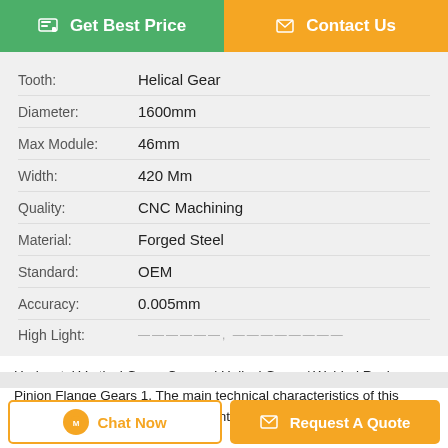[Figure (screenshot): Two action buttons: green 'Get Best Price' and orange 'Contact Us']
| Attribute | Value |
| --- | --- |
| Tooth: | Helical Gear |
| Diameter: | 1600mm |
| Max Module: | 46mm |
| Width: | 420 Mm |
| Quality: | CNC Machining |
| Material: | Forged Steel |
| Standard: | OEM |
| Accuracy: | 0.005mm |
| High Light: | ——————, ———————— |
Horizontal Vertical Gears Crossed Helical Gears / Welded Rack Pinion Flange Gears 1. The main technical characteristics of this product: 1) For industries of Cement,Thermol Power etc. 2) Surface Hardness: HRC58...
Tags: rack and pinion lift , material handling hoist , rack and pinion elevator
[Figure (screenshot): Two bottom action buttons: 'Chat Now' and 'Request A Quote']